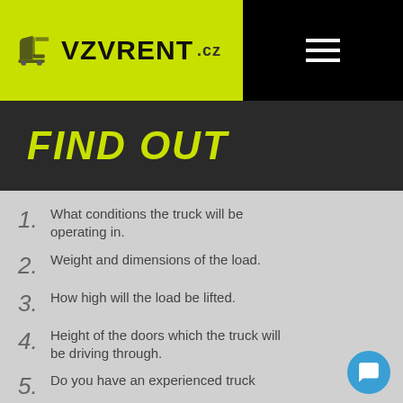VZVRENT.cz
FIND OUT
What conditions the truck will be operating in.
Weight and dimensions of the load.
How high will the load be lifted.
Height of the doors which the truck will be driving through.
Do you have an experienced truck